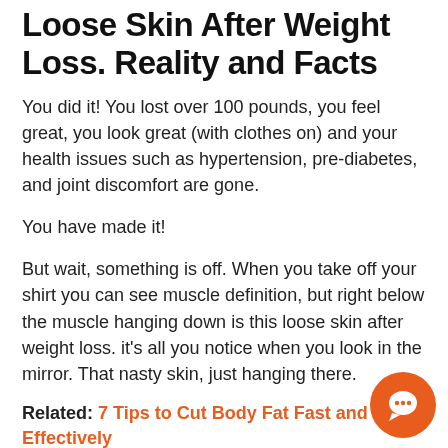Loose Skin After Weight Loss. Reality and Facts
You did it! You lost over 100 pounds, you feel great, you look great (with clothes on) and your health issues such as hypertension, pre-diabetes, and joint discomfort are gone.
You have made it!
But wait, something is off. When you take off your shirt you can see muscle definition, but right below the muscle hanging down is this loose skin after weight loss. it's all you notice when you look in the mirror. That nasty skin, just hanging there.
Related: 7 Tips to Cut Body Fat Fast and Effectively